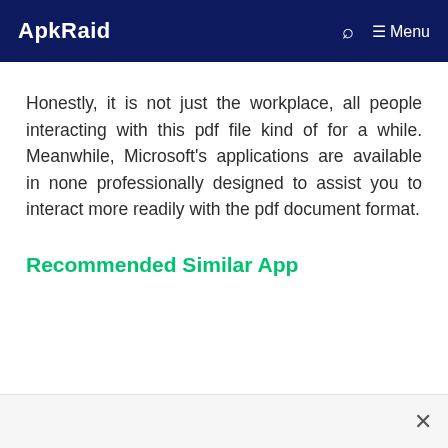ApkRaid    🔍  ☰ Menu
Honestly, it is not just the workplace, all people interacting with this pdf file kind of for a while. Meanwhile, Microsoft's applications are available in none professionally designed to assist you to interact more readily with the pdf document format.
Recommended Similar App